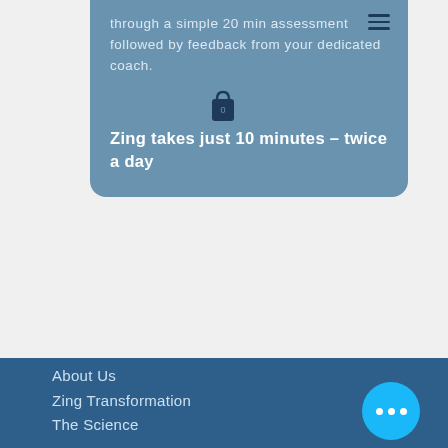through a simple 20 min assessment followed by feedback from your dedicated coach.
Zing takes just 10 minutes – twice a day
About Us
Zing Transformation
The Science
Terms & Conditions
Privacy Policy
Latest News
Contact Us